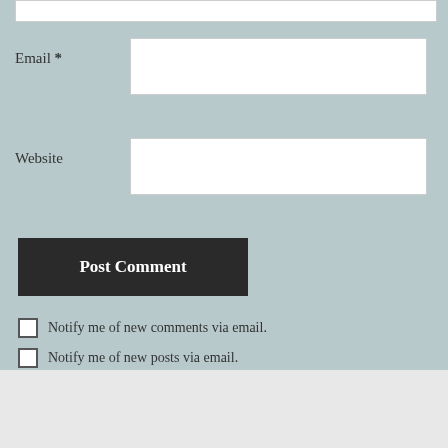Email *
Website
Post Comment
Notify me of new comments via email.
Notify me of new posts via email.
Advertisements
[Figure (screenshot): DuckDuckGo advertisement banner: orange left panel with text 'Search, browse, and email with more privacy. All in One Free App', dark right panel with DuckDuckGo duck logo and text 'DuckDuckGo']